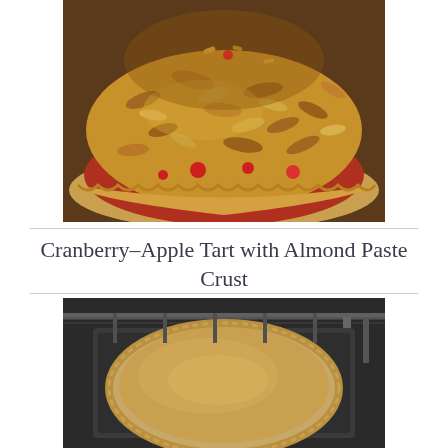[Figure (photo): Close-up photo of a cranberry-apple tart with golden oat crumble topping in a fluted pie dish, showing red cranberry-apple filling peeking through the crumble]
Cranberry-Apple Tart with Almond Paste Crust
[Figure (photo): Photo of an unbaked pie crust in a pie dish placed on an oven rack inside an oven, showing a smooth tan/cream colored filling]